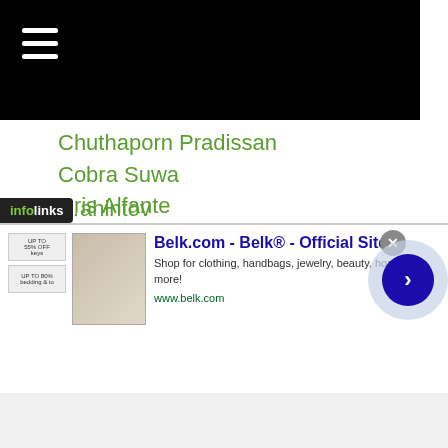[Figure (screenshot): Black header bar with hamburger menu icon (three white horizontal lines)]
Chuthaporn Pradissan
Cobra Suwa
Cris Alfante
Cris Leon
Crison Omayao
Cris Paulino
Crispin Parba
Cristian Abila
Cristian Araneta
Cristiano Aoqui
Cuauhtemoc Vargas
Cyborg Nawatedani
Czar Amonsot
[Figure (screenshot): Infolinks ad banner for Belk.com showing clothing/bedding advertisement with close button and navigation arrow]